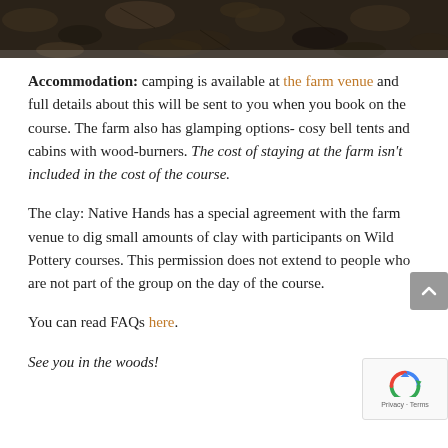[Figure (photo): Top strip of a photo showing leaves/natural ground cover in dark earthy tones]
Accommodation: camping is available at the farm venue and full details about this will be sent to you when you book on the course. The farm also has glamping options- cosy bell tents and cabins with wood-burners. The cost of staying at the farm isn't included in the cost of the course.
The clay: Native Hands has a special agreement with the farm venue to dig small amounts of clay with participants on Wild Pottery courses. This permission does not extend to people who are not part of the group on the day of the course.
You can read FAQs here.
See you in the woods!